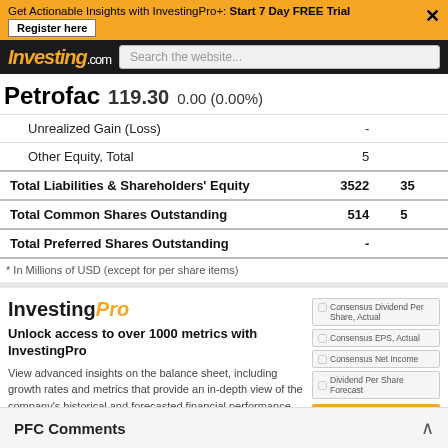Get Actionable Insights with InvestingPro+: Start 7 Day FREE Trial | Register here
Investing.com | Search the website...
Petrofac  119.30  0.00 (0.00%)
|  | Value1 | Value2 |
| --- | --- | --- |
| Unrealized Gain (Loss) | - |  |
| Other Equity, Total | 5 |  |
| Total Liabilities & Shareholders' Equity | 3522 | 35 |
| Total Common Shares Outstanding | 514 | 5 |
| Total Preferred Shares Outstanding | - |  |
* In Millions of USD (except for per share items)
[Figure (screenshot): InvestingPro promotional section with logo, tagline 'Unlock access to over 1000 metrics with InvestingPro', description text, and sidebar with checkboxes for Consensus Dividend Per Share Actual, Consensus EPS Actual, Consensus Net Income, Dividend Per Share Forecast, and a Go to button]
PFC Comments